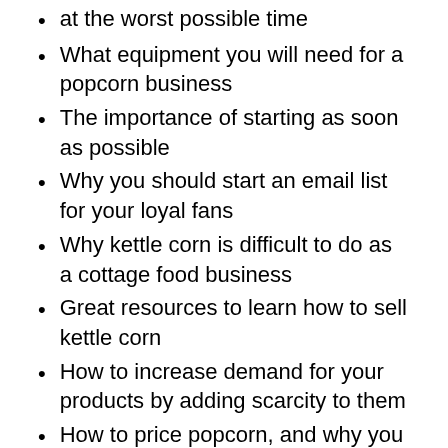at the worst possible time
What equipment you will need for a popcorn business
The importance of starting as soon as possible
Why you should start an email list for your loyal fans
Why kettle corn is difficult to do as a cottage food business
Great resources to learn how to sell kettle corn
How to increase demand for your products by adding scarcity to them
How to price popcorn, and why you should offer a 2-for-$10 deal
The problem with pricing your products too low
What types of popcorn packaging to use
Why you should find other sources of f...